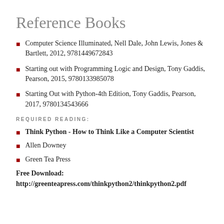Reference Books
Computer Science Illuminated, Nell Dale, John Lewis, Jones & Bartlett, 2012, 9781449672843
Starting out with Programming Logic and Design, Tony Gaddis, Pearson, 2015, 9780133985078
Starting Out with Python-4th Edition, Tony Gaddis, Pearson, 2017, 9780134543666
REQUIRED READING:
Think Python - How to Think Like a Computer Scientist
Allen Downey
Green Tea Press
Free Download:
http://greenteapress.com/thinkpython2/thinkpython2.pdf